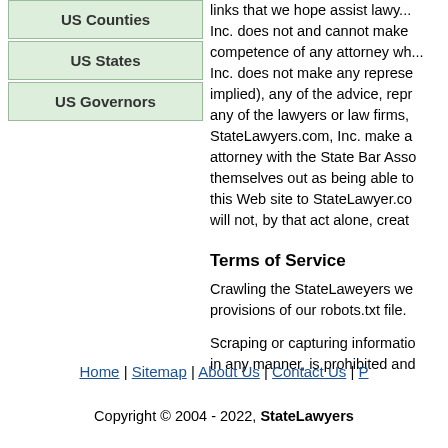US Counties
US States
US Governors
links that we hope assist lawy... Inc. does not and cannot make competence of any attorney wh... Inc. does not make any represe implied), any of the advice, repr any of the lawyers or law firms, StateLawyers.com, Inc. make a attorney with the State Bar Asso themselves out as being able to this Web site to StateLawyer.co will not, by that act alone, creat
Terms of Service
Crawling the StateLaweyers we provisions of our robots.txt file.
Scraping or capturing informatio in any manner, is prohibited and
Home | Sitemap | About Us | Contact Us | P
Copyright © 2004 - 2022, StateLawyers